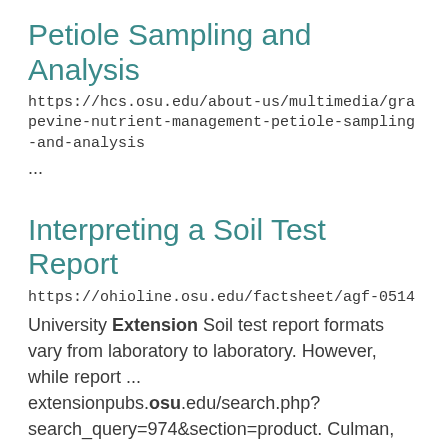Petiole Sampling and Analysis
https://hcs.osu.edu/about-us/multimedia/grapevine-nutrient-management-petiole-sampling-and-analysis
...
Interpreting a Soil Test Report
https://ohioline.osu.edu/factsheet/agf-0514
University Extension Soil test report formats vary from laboratory to laboratory. However, while report ... extensionpubs.osu.edu/search.php?search_query=974&section=product. Culman, Steve, Meredith Mann, Stuti Sharma, Muhammad Tariq Saeed, Anthony Fulford, Laura Lindsey... "Values" (ANR